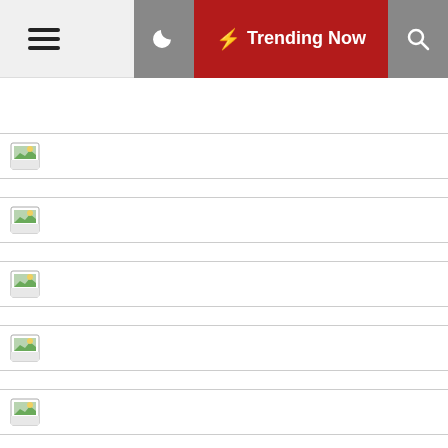☰  🌙  ⚡ Trending Now  🔍
[Figure (screenshot): News website mobile UI with hamburger menu, dark mode toggle, Trending Now button in red, and search icon in the header]